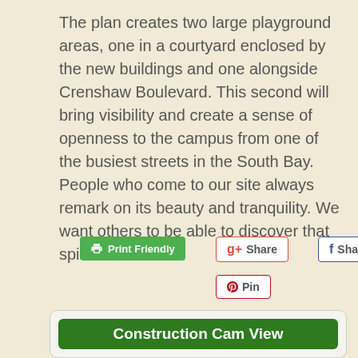The plan creates two large playground areas, one in a courtyard enclosed by the new buildings and one alongside Crenshaw Boulevard. This second will bring visibility and create a sense of openness to the campus from one of the busiest streets in the South Bay. People who come to our site always remark on its beauty and tranquility. We want others to be able to discover that spirit as well.
[Figure (other): Social sharing buttons: Print Friendly (green), Google+ Share, Facebook Share, Twitter Tweet, Pinterest Pin]
Construction Cam View